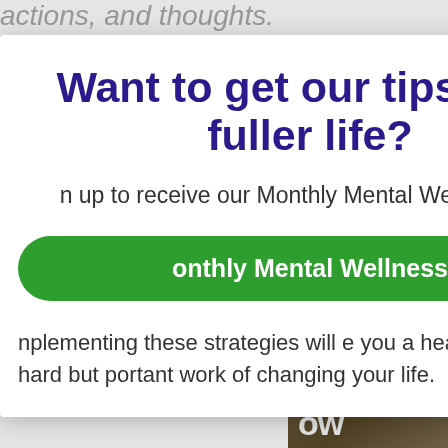actions, and thoughts.
[Figure (screenshot): Modal popup overlay on a webpage about mental wellness. The modal has a dark purple header 'Want to get our tips for a fuller life?', body text about signing up for Monthly Mental Wellness tips, a green rounded button, and below the modal is text about implementing strategies.]
Want to get our tips for a fuller life?
n up to receive our Monthly Mental Wellness tips.
onthly Mental Wellness
nplementing these strategies will e you a head start on the hard but portant work of changing your life.